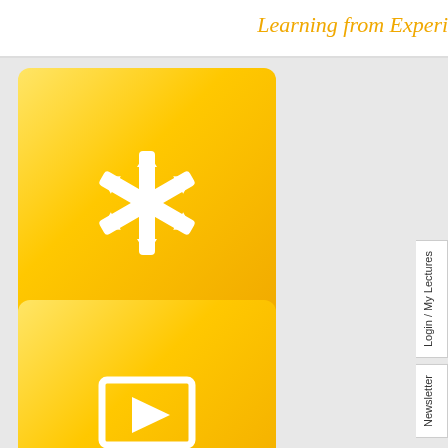Learning from Experie...
[Figure (screenshot): Yellow card button with snowflake/asterisk white icon and blue label bar reading Events & Conferences]
[Figure (screenshot): Yellow card button with white monitor/play icon and blue label bar reading Lecture Library]
[Figure (screenshot): Partial yellow card button with Gold Annual Member badge visible]
Login / My Lectures
Newsletter